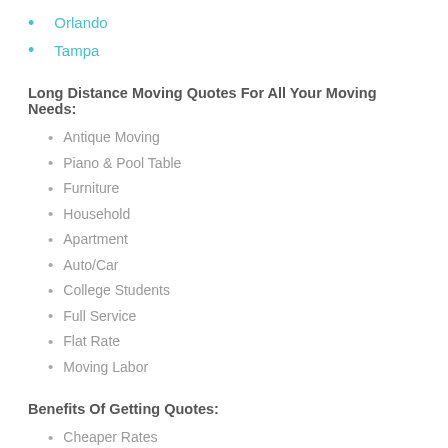Orlando
Tampa
Long Distance Moving Quotes For All Your Moving Needs:
Antique Moving
Piano & Pool Table
Furniture
Household
Apartment
Auto/Car
College Students
Full Service
Flat Rate
Moving Labor
Benefits Of Getting Quotes:
Cheaper Rates
Professional Service
Licensed Movers
Save Time Searching